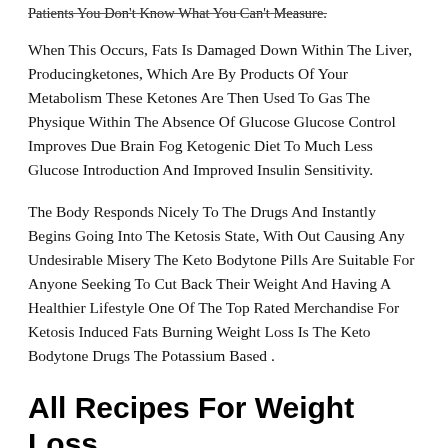Patients You Don't Know What You Can't Measure.
When This Occurs, Fats Is Damaged Down Within The Liver, Producingketones, Which Are By Products Of Your Metabolism These Ketones Are Then Used To Gas The Physique Within The Absence Of Glucose Glucose Control Improves Due Brain Fog Ketogenic Diet To Much Less Glucose Introduction And Improved Insulin Sensitivity.
The Body Responds Nicely To The Drugs And Instantly Begins Going Into The Ketosis State, With Out Causing Any Undesirable Misery The Keto Bodytone Pills Are Suitable For Anyone Seeking To Cut Back Their Weight And Having A Healthier Lifestyle One Of The Top Rated Merchandise For Ketosis Induced Fats Burning Weight Loss Is The Keto Bodytone Drugs The Potassium Based .
All Recipes For Weight Loss